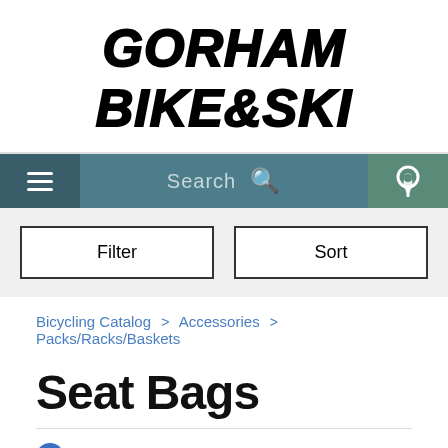GORHAM BIKE&SKI
[Figure (screenshot): Navigation bar with hamburger menu, search field, and location icon on teal background]
[Figure (screenshot): Filter and Sort buttons on grey background]
Bicycling Catalog > Accessories > Packs/Racks/Baskets
Seat Bags
✕ Ortlieb
[Figure (screenshot): Two product card thumbnails partially visible at bottom]